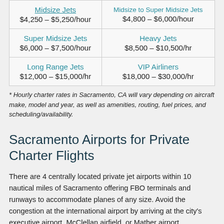| [Midsize Jets]
$4,250 – $5,250/hour | [Midsize to Super Midsize Jets]
$4,800 – $6,000/hour |
| Super Midsize Jets
$6,000 – $7,500/hour | Heavy Jets
$8,500 – $10,500/hr |
| Long Range Jets
$12,000 – $15,000/hr | VIP Airliners
$18,000 – $30,000/hr |
* Hourly charter rates in Sacramento, CA will vary depending on aircraft make, model and year, as well as amenities, routing, fuel prices, and scheduling/availability.
Sacramento Airports for Private Charter Flights
There are 4 centrally located private jet airports within 10 nautical miles of Sacramento offering FBO terminals and runways to accommodate planes of any size. Avoid the congestion at the international airport by arriving at the city's executive airport, McClellan airfield, or Mather airport.